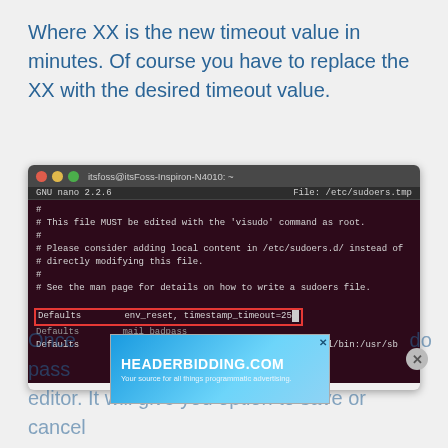Where XX is the new timeout value in minutes. Of course you have to replace the XX with the desired timeout value.
[Figure (screenshot): Terminal screenshot showing GNU nano 2.2.6 editing /etc/sudoers.tmp file. The file content shows comments about editing with visudo, adding local content in /etc/sudoers.d/, and a man page reference. A highlighted line shows: Defaults   env_reset, timestamp_timeout=25 with a cursor block. Below are two more Defaults lines (mail_badpass and secure_path).]
Once ... sudo pass ... editor. It will give you option to save or cancel